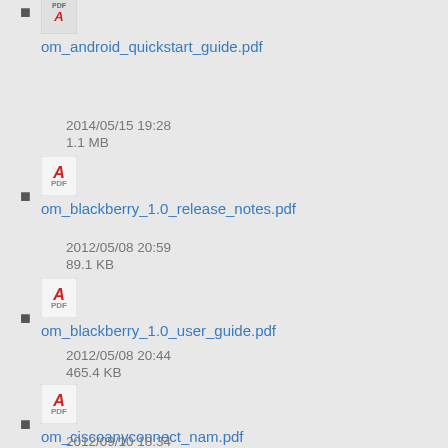om_android_quickstart_guide.pdf
2014/05/15 19:28
1.1 MB
om_blackberry_1.0_release_notes.pdf
2012/05/08 20:59
89.1 KB
om_blackberry_1.0_user_guide.pdf
2012/05/08 20:44
465.4 KB
om_ciscoanyconnect_nam.pdf
2012/09/10 18:34